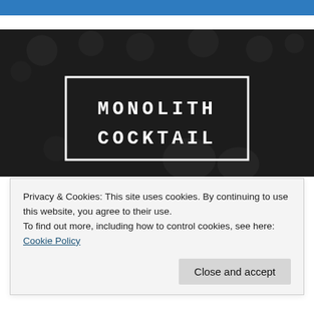[Figure (logo): Monolith Cocktail logo — white hand-lettered text reading MONOLITH COCKTAIL in two lines inside a white rectangle border, on a dark textured background]
Fiery Furnaces
Privacy & Cookies: This site uses cookies. By continuing to use this website, you agree to their use.
To find out more, including how to control cookies, see here: Cookie Policy
Close and accept
worth checking out